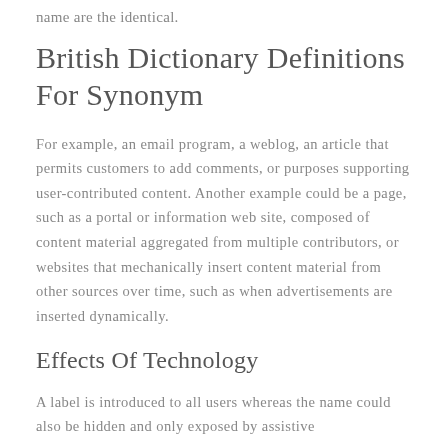name are the identical.
British Dictionary Definitions For Synonym
For example, an email program, a weblog, an article that permits customers to add comments, or purposes supporting user-contributed content. Another example could be a page, such as a portal or information web site, composed of content material aggregated from multiple contributors, or websites that mechanically insert content material from other sources over time, such as when advertisements are inserted dynamically.
Effects Of Technology
A label is introduced to all users whereas the name could also be hidden and only exposed by assistive